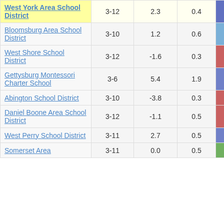| School/District | Grades | Col3 | Col4 | Score |
| --- | --- | --- | --- | --- |
| West York Area School District | 3-12 | 2.3 | 0.4 | 5.18 |
| Bloomsburg Area School District | 3-10 | 1.2 | 0.6 | 1.95 |
| West Shore School District | 3-12 | -1.6 | 0.3 | -5.93 |
| Gettysburg Montessori Charter School | 3-6 | 5.4 | 1.9 | 2.75 |
| Abington School District | 3-10 | -3.8 | 0.3 | -12.26 |
| Daniel Boone Area School District | 3-12 | -1.1 | 0.5 | -2.33 |
| West Perry School District | 3-11 | 2.7 | 0.5 | 5.67 |
| Somerset Area ... | 3-11 | 0.0 | 0.5 | 0.05 |